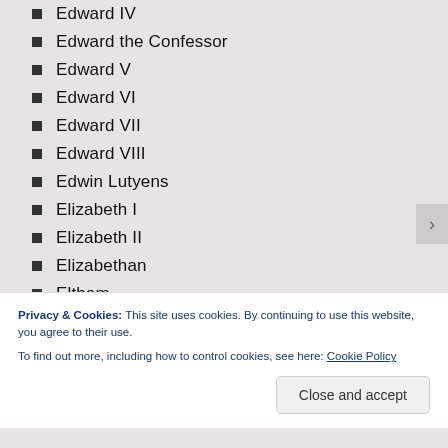Edward IV
Edward the Confessor
Edward V
Edward VI
Edward VII
Edward VIII
Edwin Lutyens
Elizabeth I
Elizabeth II
Elizabethan
Eltham
Enfield
Ethelred
Euston
Privacy & Cookies: This site uses cookies. By continuing to use this website, you agree to their use. To find out more, including how to control cookies, see here: Cookie Policy